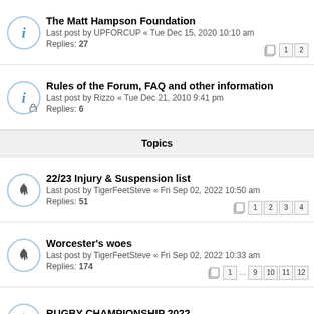The Matt Hampson Foundation
Last post by UPFORCUP « Tue Dec 15, 2020 10:10 am
Replies: 27
Rules of the Forum, FAQ and other information
Last post by Rizzo « Tue Dec 21, 2010 9:41 pm
Replies: 6
Topics
22/23 Injury & Suspension list
Last post by TigerFeetSteve « Fri Sep 02, 2022 10:50 am
Replies: 51
Worcester's woes
Last post by TigerFeetSteve « Fri Sep 02, 2022 10:33 am
Replies: 174
RUGBY CHAMPIONSHIP 2022
Last post by Rugbygramps « Fri Sep 02, 2022 9:29 am